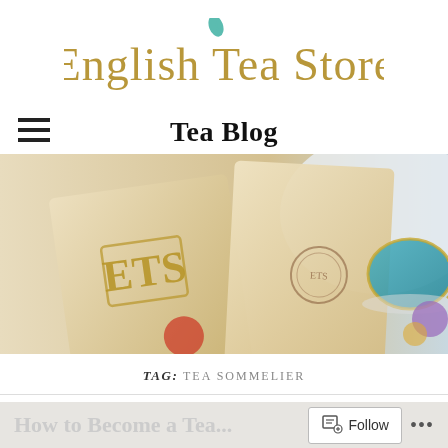[Figure (logo): English Tea Store logo with teal leaf above the text in gold/dark serif font]
Tea Blog
[Figure (photo): Close-up photo of English Tea Store tea packages with gold ETS emblem, kraft paper bags, and a decorative teacup in the background]
TAG: TEA SOMMELIER
How to Become a Tea...
Follow